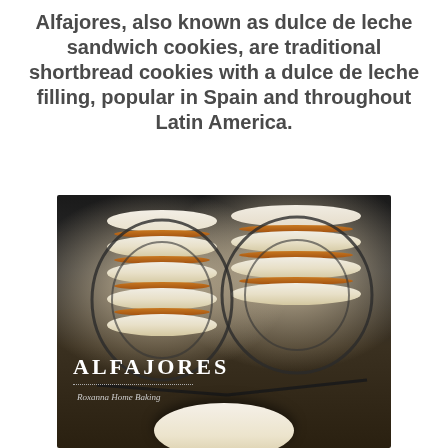Alfajores, also known as dulce de leche sandwich cookies, are traditional shortbread cookies with a dulce de leche filling, popular in Spain and throughout Latin America.
[Figure (photo): Photograph of alfajores (dulce de leche sandwich cookies) stacked on a dark ornate wire rack display stand, with text overlay reading 'ALFAJORES' and 'Roxanna Home Baking' in the lower left corner. Dark moody background with a single cookie visible at the bottom foreground.]